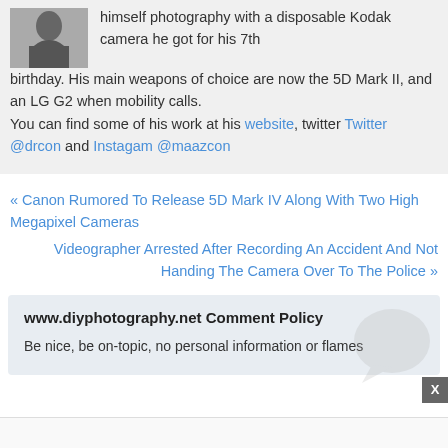[Figure (photo): Small black and white portrait photo of a person]
himself photography with a disposable Kodak camera he got for his 7th birthday. His main weapons of choice are now the 5D Mark II, and an LG G2 when mobility calls. You can find some of his work at his website, twitter Twitter @drcon and Instagam @maazcon
« Canon Rumored To Release 5D Mark IV Along With Two High Megapixel Cameras
Videographer Arrested After Recording An Accident And Not Handing The Camera Over To The Police »
www.diyphotography.net Comment Policy
Be nice, be on-topic, no personal information or flames